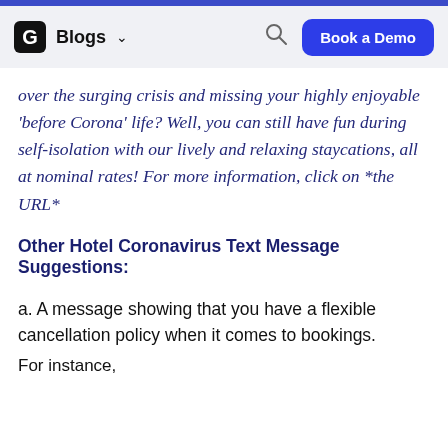Blogs ∨  [search]  Book a Demo
over the surging crisis and missing your highly enjoyable 'before Corona' life? Well, you can still have fun during self-isolation with our lively and relaxing staycations, all at nominal rates! For more information, click on *the URL*
Other Hotel Coronavirus Text Message Suggestions:
a. A message showing that you have a flexible cancellation policy when it comes to bookings.
For instance,